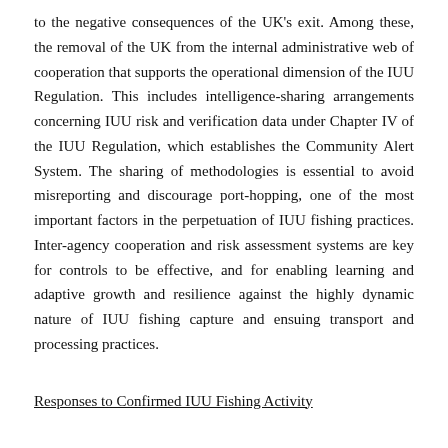to the negative consequences of the UK's exit. Among these, the removal of the UK from the internal administrative web of cooperation that supports the operational dimension of the IUU Regulation. This includes intelligence-sharing arrangements concerning IUU risk and verification data under Chapter IV of the IUU Regulation, which establishes the Community Alert System. The sharing of methodologies is essential to avoid misreporting and discourage port-hopping, one of the most important factors in the perpetuation of IUU fishing practices. Inter-agency cooperation and risk assessment systems are key for controls to be effective, and for enabling learning and adaptive growth and resilience against the highly dynamic nature of IUU fishing capture and ensuing transport and processing practices.
Responses to Confirmed IUU Fishing Activity
The European Commission has adopted a high profile policy of warning third countries that it suspects as being non-cooperating for the purposes of IUU fishing control. The yellow and red carding system follows a formal process of approval that may culminate in the adoption of restrictive measures, including the possibility of trade suspensions, under Article 38 of the IUU Regulation. Once the